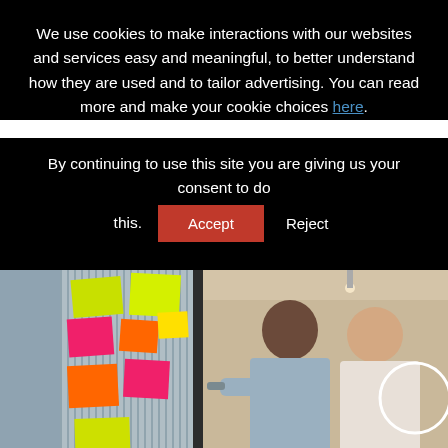We use cookies to make interactions with our websites and services easy and meaningful, to better understand how they are used and to tailor advertising. You can read more and make your cookie choices here.
By continuing to use this site you are giving us your consent to do this. [Accept] [Reject]
[Figure (photo): Two men in an office looking at colorful sticky notes (yellow, pink, orange, green) posted on a glass wall. One man writes on the glass with a marker while the other watches and smiles. There is a white circle overlay in the lower right.]